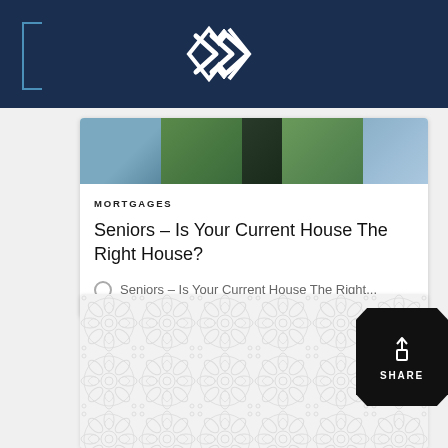[Figure (photo): Real estate website screenshot showing a card with property images and a Mortgages category article]
MORTGAGES
Seniors – Is Your Current House The Right House?
Seniors – Is Your Current House The Right...
[Figure (illustration): Decorative tile pattern background in light grey]
SHARE